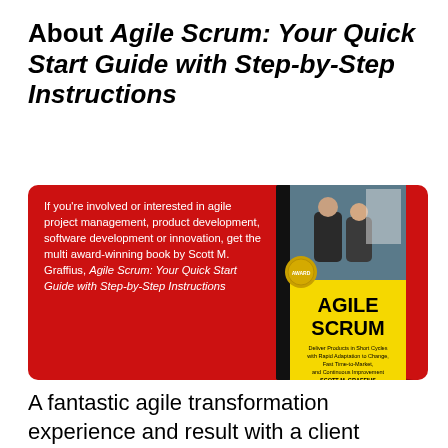About Agile Scrum: Your Quick Start Guide with Step-by-Step Instructions
[Figure (illustration): Red promotional box with white text on the left describing the book, and a book cover image of 'Agile Scrum' by Scott M. Graffius on the right showing a yellow and black cover with a photo of two people in an office.]
A fantastic agile transformation experience and result with a client organization in the entertainment industry was the inspiration for